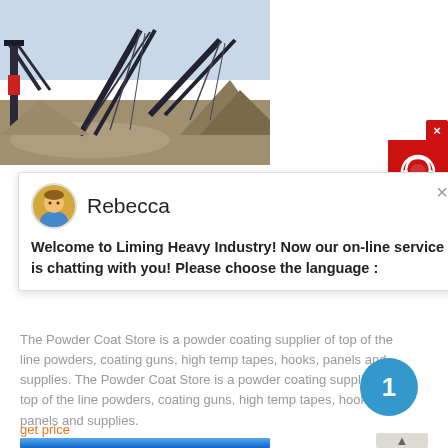[Figure (photo): Industrial mining/crushing equipment machinery with conveyor belts and stockpiles of aggregate material outdoors]
[Figure (screenshot): Live chat widget from Liming Heavy Industry website showing agent named Rebecca with welcome message asking user to choose language]
[Figure (infographic): Red customer support widget on right side with headset icon and close button]
The Powder Coat Store is a powder coating supplier of top of the line powders, coating guns, high temp tapes, hooks, panels and supplies. The Powder Coat Store is a powder coating supplier of top of the line powders, coating guns, high temp tapes, hooks, panels and supplies.
get price
[Figure (photo): Blue sky/gradient image at bottom of page]